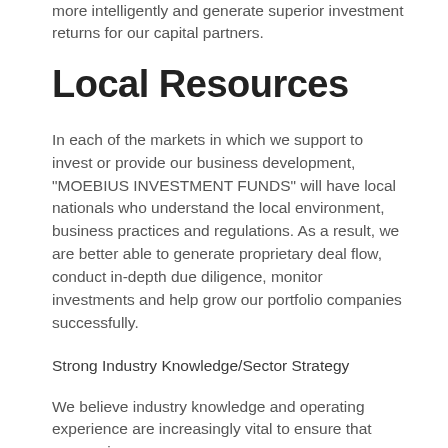more intelligently and generate superior investment returns for our capital partners.
Local Resources
In each of the markets in which we support to invest or provide our business development, "MOEBIUS INVESTMENT FUNDS" will have local nationals who understand the local environment, business practices and regulations. As a result, we are better able to generate proprietary deal flow, conduct in-depth due diligence, monitor investments and help grow our portfolio companies successfully.
Strong Industry Knowledge/Sector Strategy
We believe industry knowledge and operating experience are increasingly vital to ensure that companies